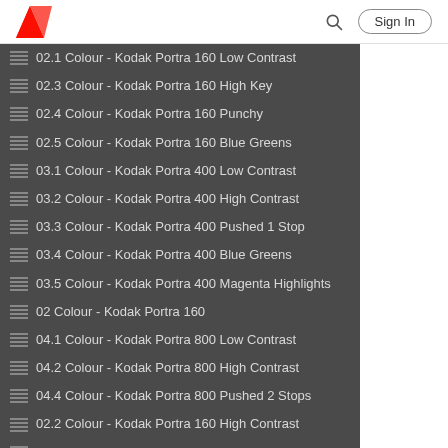Adobe | Sign In
02.1 Colour - Kodak Portra 160 Low Contrast
02.3 Colour - Kodak Portra 160 High Key
02.4 Colour - Kodak Portra 160 Punchy
02.5 Colour - Kodak Portra 160 Blue Greens
03.1 Colour - Kodak Portra 400 Low Contrast
03.2 Colour - Kodak Portra 400 High Contrast
03.3 Colour - Kodak Portra 400 Pushed 1 Stop
03.4 Colour - Kodak Portra 400 Blue Greens
03.5 Colour - Kodak Portra 400 Magenta Highlights
02 Colour - Kodak Portra 160
04.1 Colour - Kodak Portra 800 Low Contrast
04.2 Colour - Kodak Portra 800 High Contrast
04.4 Colour - Kodak Portra 800 Pushed 2 Stops
02.2 Colour - Kodak Portra 160 High Contrast
04.3 Colour - Kodak Portra 800 Pushed 1 Stop
04.5 Colour - Kodak Portra 800 Blue Greens
01.2 Colour - Kodak Kodachrome 25 Contrasty +
04.6 Colour - Kodak Portra 800 Magenta Highlights
04.7 Colour - Kodak Portra 800 Warm